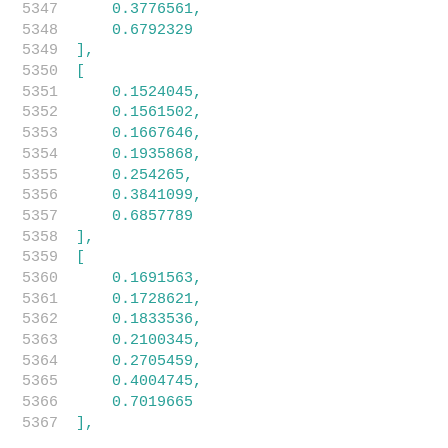5347    0.3776561,
5348    0.6792329
5349],
5350[
5351    0.1524045,
5352    0.1561502,
5353    0.1667646,
5354    0.1935868,
5355    0.254265,
5356    0.3841099,
5357    0.6857789
5358],
5359[
5360    0.1691563,
5361    0.1728621,
5362    0.1833536,
5363    0.2100345,
5364    0.2705459,
5365    0.4004745,
5366    0.7019665
5367],